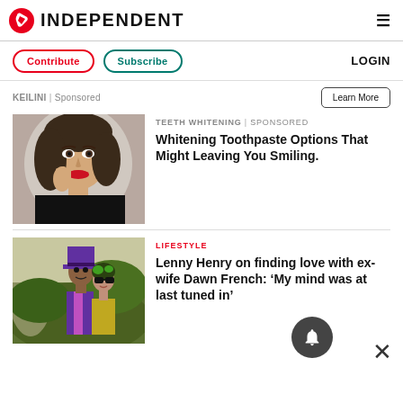[Figure (logo): The Independent newspaper logo with red bird icon and bold INDEPENDENT text]
Contribute  Subscribe  LOGIN
KEILINI | Sponsored
Learn More
[Figure (photo): Young woman with long brown hair, red lips, touching her face with one hand, grey background - teeth whitening advertisement]
TEETH WHITENING | Sponsored
Whitening Toothpaste Options That Might Leaving You Smiling.
[Figure (photo): Man in purple suit and top hat with woman in yellow dress and black sunglasses outdoors - Lenny Henry and Dawn French]
LIFESTYLE
Lenny Henry on finding love with ex-wife Dawn French: ‘My mind was at last tuned in’